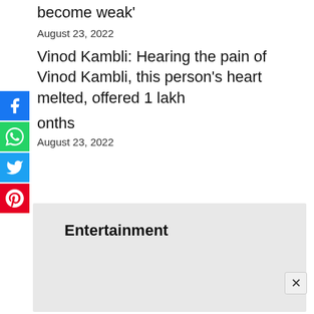become weak'
August 23, 2022
Vinod Kambli: Hearing the pain of Vinod Kambli, this person's heart melted, offered 1 lakh per months
August 23, 2022
[Figure (infographic): Social media share buttons: Facebook (blue), WhatsApp (green), Twitter (blue), Pinterest (red)]
Entertainment
[Figure (other): Advertisement box with Entertainment label and close button]